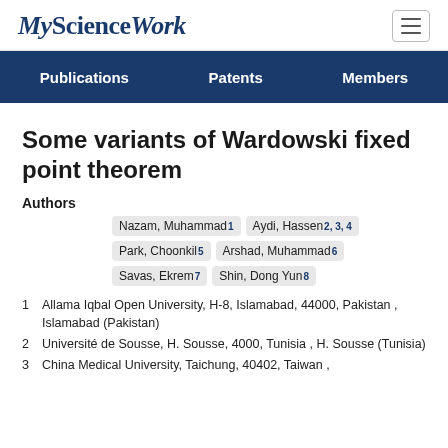MyScienceWork
Some variants of Wardowski fixed point theorem
Authors
Nazam, Muhammad 1  Aydi, Hassen 2, 3, 4  Park, Choonkil 5  Arshad, Muhammad 6  Savas, Ekrem 7  Shin, Dong Yun 8
1  Allama Iqbal Open University, H-8, Islamabad, 44000, Pakistan , Islamabad (Pakistan)
2  Université de Sousse, H. Sousse, 4000, Tunisia , H. Sousse (Tunisia)
3  China Medical University, Taichung, 40402, Taiwan ,